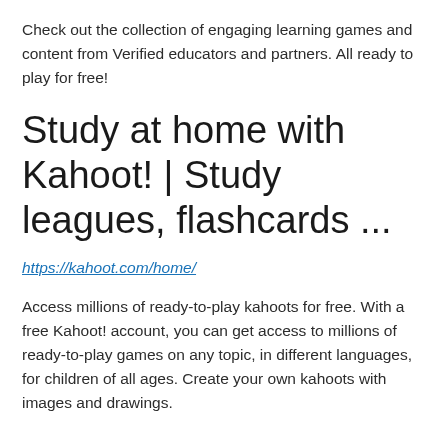Check out the collection of engaging learning games and content from Verified educators and partners. All ready to play for free!
Study at home with Kahoot! | Study leagues, flashcards ...
https://kahoot.com/home/
Access millions of ready-to-play kahoots for free. With a free Kahoot! account, you can get access to millions of ready-to-play games on any topic, in different languages, for children of all ages. Create your own kahoots with images and drawings.